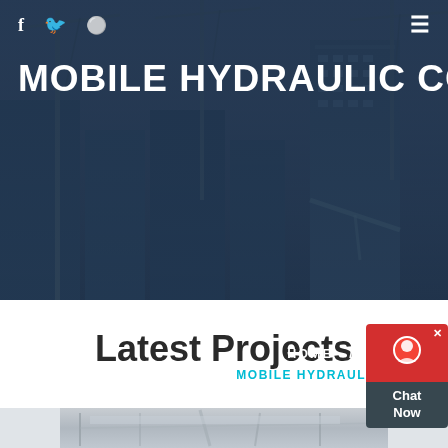[Figure (photo): Hero background showing construction cranes and buildings under construction against a dark blue-tinted sky overlay]
f  ✦  ≡ (navigation icons: Facebook, Twitter, Dribbble, hamburger menu)
MOBILE HYDRAULIC CONE CRUS
HOME  //  PRODUCTS  //  MOBILE HYDRAULIC CONE CRUSHER TON
Latest Projects
[Figure (photo): Partial photo of industrial machinery / crusher equipment visible at the bottom edge of the page]